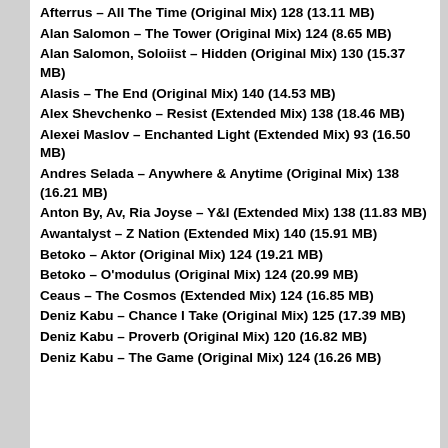Afterrus – All The Time (Original Mix) 128 (13.11 MB)
Alan Salomon – The Tower (Original Mix) 124 (8.65 MB)
Alan Salomon, Soloiist – Hidden (Original Mix) 130 (15.37 MB)
Alasis – The End (Original Mix) 140 (14.53 MB)
Alex Shevchenko – Resist (Extended Mix) 138 (18.46 MB)
Alexei Maslov – Enchanted Light (Extended Mix) 93 (16.50 MB)
Andres Selada – Anywhere & Anytime (Original Mix) 138 (16.21 MB)
Anton By, Av, Ria Joyse – Y&I (Extended Mix) 138 (11.83 MB)
Awantalyst – Z Nation (Extended Mix) 140 (15.91 MB)
Betoko – Aktor (Original Mix) 124 (19.21 MB)
Betoko – O'modulus (Original Mix) 124 (20.99 MB)
Ceaus – The Cosmos (Extended Mix) 124 (16.85 MB)
Deniz Kabu – Chance I Take (Original Mix) 125 (17.39 MB)
Deniz Kabu – Proverb (Original Mix) 120 (16.82 MB)
Deniz Kabu – The Game (Original Mix) 124 (16.26 MB)